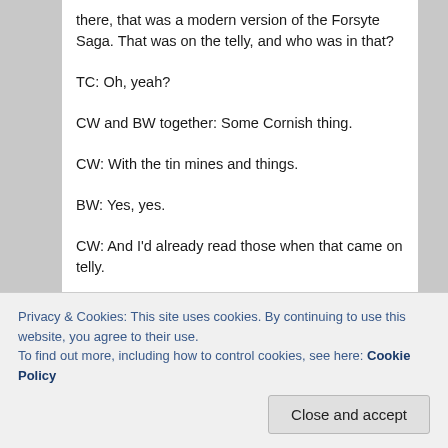there, that was a modern version of the Forsyte Saga.  That was on the telly, and who was in that?
TC: Oh, yeah?
CW and BW together: Some Cornish thing.
CW: With the tin mines and things.
BW: Yes, yes.
CW: And I'd already read those when that came on telly.
BW: And we read one or two of those together, didn't we?
CW: Magus... Magnus.
Privacy & Cookies: This site uses cookies. By continuing to use this website, you agree to their use.
To find out more, including how to control cookies, see here: Cookie Policy
read.